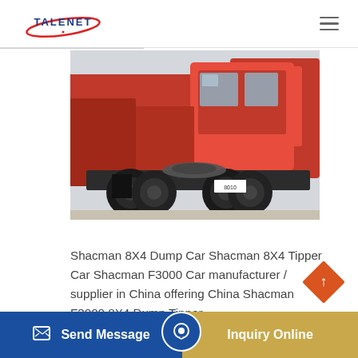TALENET
[Figure (photo): Red Shacman heavy-duty tractor trucks parked in a lot, rear/side view showing large tires and red cab, multiple units visible]
Shacman 8X4 Dump Car Shacman 8X4 Tipper Car Shacman F3000 Car manufacturer / supplier in China offering China Shacman F3000 8X4 Dump Tipper ... HP with ... Sale China Factory Supplied 1 to 1.5 Ton
Send Message | Inquiry Online